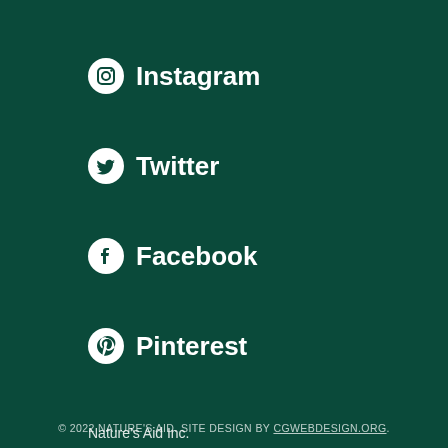Instagram
Twitter
Facebook
Pinterest
Nature’s Aid Inc.
C1-360 York Rd.
Niagara-on-the-Lake, ON L0S 1J0
© 2022 NATURE’S AID. SITE DESIGN BY CGWEBDESIGN.ORG.